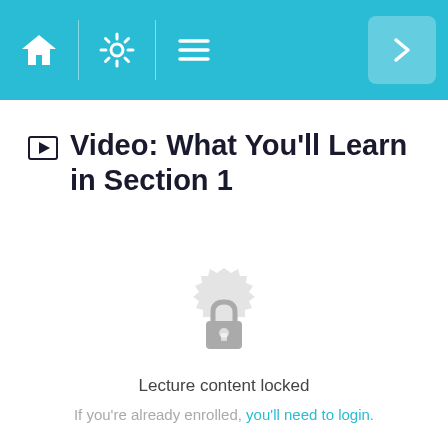Navigation bar with home, settings, menu icons and next button
Video: What You'll Learn in Section 1
[Figure (illustration): Lock icon inside a decorative circular badge/seal shape in light gray, indicating locked content]
Lecture content locked
If you're already enrolled, you'll need to login.